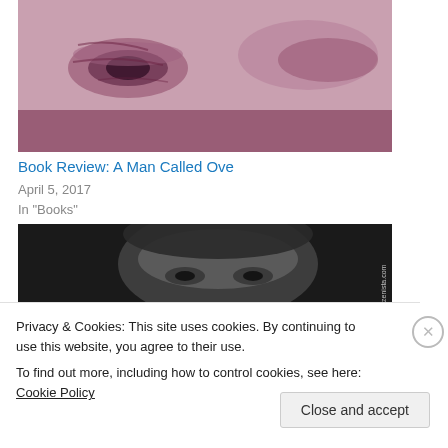[Figure (photo): Close-up of a face with pink/purple tint, showing eyes and nose area]
Book Review: A Man Called Ove
April 5, 2017
In "Books"
[Figure (photo): Black and white photo of an elderly man's face, with watermark 'am-zenista.com']
Privacy & Cookies: This site uses cookies. By continuing to use this website, you agree to their use.
To find out more, including how to control cookies, see here: Cookie Policy
Close and accept